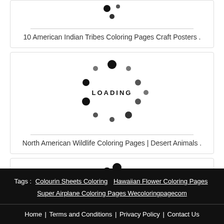[Figure (illustration): Loading spinner dots (top card, partial view)]
10 American Indian Tribes Coloring Pages Craft Posters .
[Figure (illustration): Loading spinner dots with LOADING text in center]
North American Wildlife Coloring Pages | Desert Animals .
[Figure (illustration): Loading spinner dots (third card, partial view)]
Tags : Colourin Sheets Coloring  Hawaiian Flower Coloring Pages  Super Airplane Coloring Pages Wecoloringpagecom
Home | Terms and Conditions | Privacy Policy | Contact Us